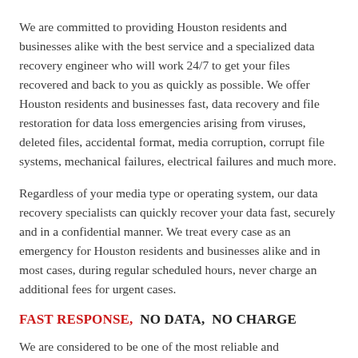We are committed to providing Houston residents and businesses alike with the best service and a specialized data recovery engineer who will work 24/7 to get your files recovered and back to you as quickly as possible. We offer Houston residents and businesses fast, data recovery and file restoration for data loss emergencies arising from viruses, deleted files, accidental format, media corruption, corrupt file systems, mechanical failures, electrical failures and much more.
Regardless of your media type or operating system, our data recovery specialists can quickly recover your data fast, securely and in a confidential manner. We treat every case as an emergency for Houston residents and businesses alike and in most cases, during regular scheduled hours, never charge an additional fees for urgent cases.
FAST RESPONSE,  NO DATA,  NO CHARGE
We are considered to be one of the most reliable and experienced hard drive recovery providers in the industry. Utilizing the latest